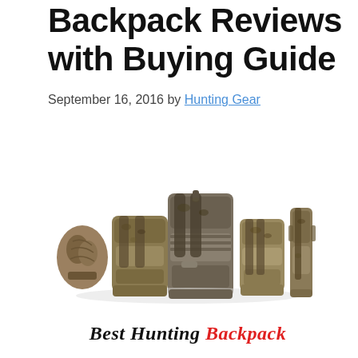Backpack Reviews with Buying Guide
September 16, 2016 by Hunting Gear
[Figure (photo): Multiple camouflage hunting backpacks arranged in a row on a white background, varying in size from small to large.]
Best Hunting Backpack